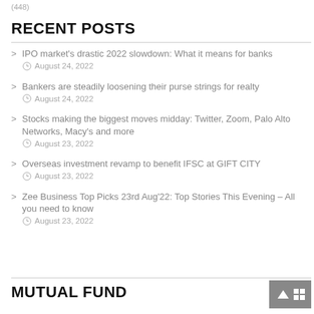(448)
RECENT POSTS
IPO market's drastic 2022 slowdown: What it means for banks
August 24, 2022
Bankers are steadily loosening their purse strings for realty
August 24, 2022
Stocks making the biggest moves midday: Twitter, Zoom, Palo Alto Networks, Macy's and more
August 23, 2022
Overseas investment revamp to benefit IFSC at GIFT CITY
August 23, 2022
Zee Business Top Picks 23rd Aug'22: Top Stories This Evening – All you need to know
August 23, 2022
MUTUAL FUND